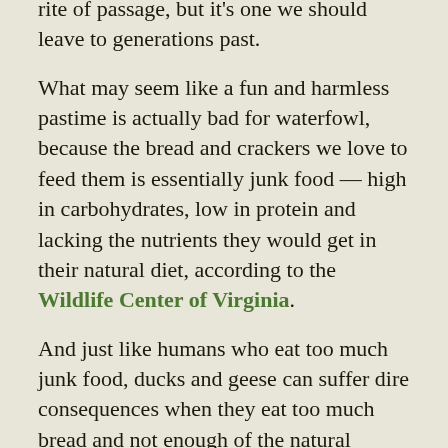rite of passage, but it's one we should leave to generations past.
What may seem like a fun and harmless pastime is actually bad for waterfowl, because the bread and crackers we love to feed them is essentially junk food — high in carbohydrates, low in protein and lacking the nutrients they would get in their natural diet, according to the Wildlife Center of Virginia.
And just like humans who eat too much junk food, ducks and geese can suffer dire consequences when they eat too much bread and not enough of the natural grains, aquatic plants, insects and other small invertebrates they would feast on if we didn't so love feeding them bread.
A condition among waterfowl called angel wing may be caused by an improper diet. In ducks and geese with angel wing, their wings become deformed because the carpal joint grows